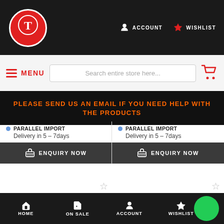ACCOUNT | WISHLIST
MENU | Search entire store here...
PLEASE SEND US AN EMAIL IF YOU NEED HELP WITH THE PRODUCTS
PARALLEL IMPORT
Delivery in 5 - 7days
ENQUIRY NOW
PARALLEL IMPORT
Delivery in 5 - 7days
ENQUIRY NOW
[Figure (photo): Single bass drum pedal product image]
[Figure (photo): Double bass drum pedal product image]
HOME | ON SALE | ACCOUNT | WISHLIST